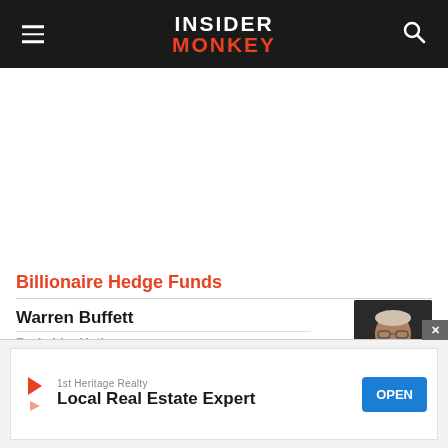INSIDER MONKEY
Billionaire Hedge Funds
Warren Buffett
Berkshire Hathaway
[Figure (photo): Photo of Warren Buffett, elderly man with glasses against dark background]
1st Heritage Realty — Local Real Estate Expert — OPEN